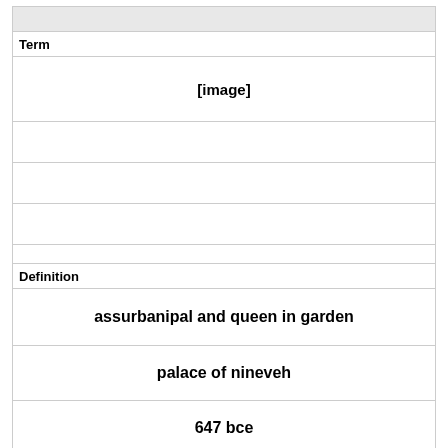| Term |
| --- |
| [image] |
|  |
|  |
|  |
| Definition |
| assurbanipal and queen in garden |
| palace of nineveh |
| 647 bce |
| alabaster |
|  |